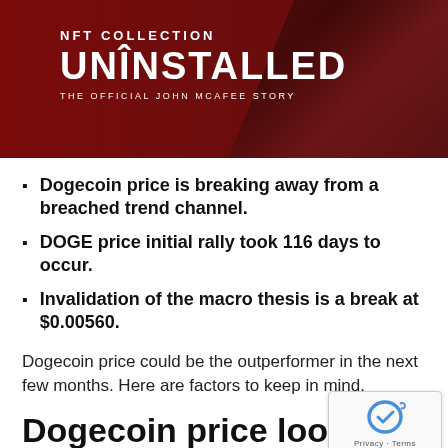[Figure (illustration): NFT Collection 'Uninstalled - The Official John McAfee Story' banner with red background and silhouette of person]
Dogecoin price is breaking away from a breached trend channel.
DOGE price initial rally took 116 days to occur.
Invalidation of the macro thesis is a break at $0.00560.
Dogecoin price could be the outperformer in the next few months. Here are factors to keep in mind.
Dogecoin price looks promis